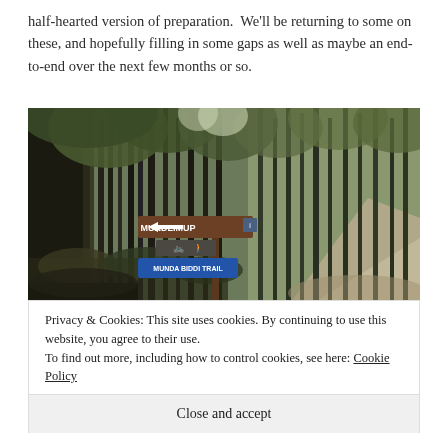half-hearted version of preparation.  We'll be returning to some on these, and hopefully filling in some gaps as well as maybe an end-to-end over the next few months or so.
[Figure (photo): A forest trail scene with tall eucalyptus trees and a road. A brown directional signpost points left with 'MUNDLIMUP' written on it and a blue 'MUNDA BIDDI TRAIL' sign below.]
Privacy & Cookies: This site uses cookies. By continuing to use this website, you agree to their use.
To find out more, including how to control cookies, see here: Cookie Policy
Close and accept